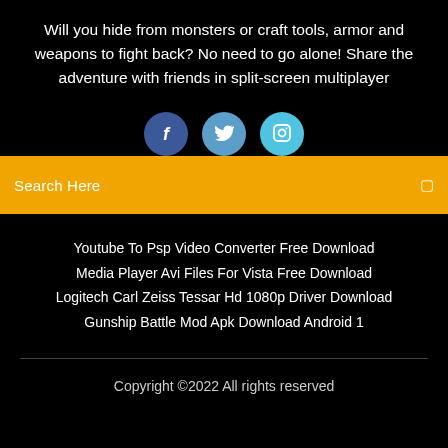Will you hide from monsters or craft tools, armor and weapons to fight back? No need to go alone! Share the adventure with friends in split-screen multiplayer
[Figure (illustration): Three social media icon buttons: Facebook (dark blue circle with 'f'), Twitter (medium blue circle with bird icon), Instagram (light blue circle with camera icon)]
Search Here
Youtube To Psp Video Converter Free Download
Media Player Avi Files For Vista Free Download
Logitech Carl Zeiss Tessar Hd 1080p Driver Download
Gunship Battle Mod Apk Download Android 1
Copyright ©2022 All rights reserved